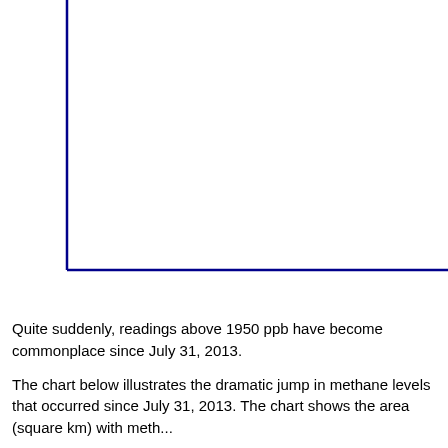[Figure (continuous-plot): Partial view of a chart with blue axes (left vertical axis and bottom horizontal axis visible). The chart area is mostly blank/white — this appears to be the top-left portion of a larger chart that is cropped. The axes are drawn in dark blue.]
Quite suddenly, readings above 1950 ppb have become commonplace since July 31, 2013.
The chart below illustrates the dramatic jump in methane levels that occurred since July 31, 2013. The chart shows the area (square km) with meth...